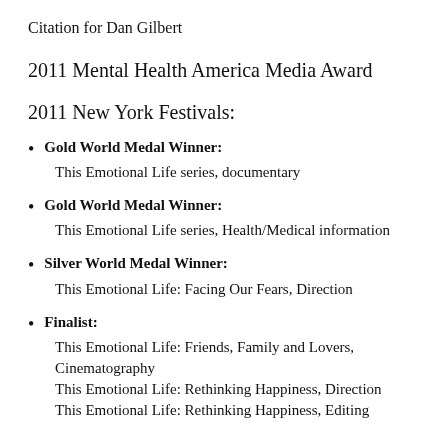Citation for Dan Gilbert
2011 Mental Health America Media Award
2011 New York Festivals:
Gold World Medal Winner: This Emotional Life series, documentary
Gold World Medal Winner: This Emotional Life series, Health/Medical information
Silver World Medal Winner: This Emotional Life: Facing Our Fears, Direction
Finalist: This Emotional Life: Friends, Family and Lovers, Cinematography
This Emotional Life: Rethinking Happiness, Direction
This Emotional Life: Rethinking Happiness, Editing